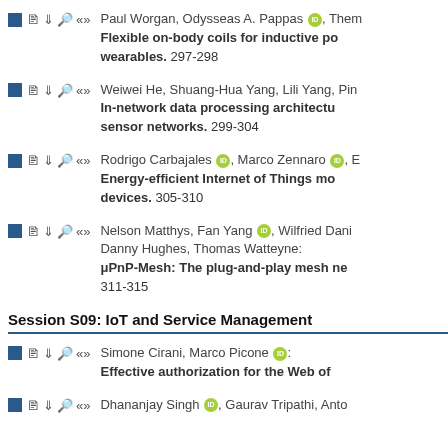Paul Worgan, Odysseas A. Pappas, Them... Flexible on-body coils for inductive po... wearables. 297-298
Weiwei He, Shuang-Hua Yang, Lili Yang, Pin... In-network data processing architectu... sensor networks. 299-304
Rodrigo Carbajales, Marco Zennaro, E... Energy-efficient Internet of Things mo... devices. 305-310
Nelson Matthys, Fan Yang, Wilfried Dani... Danny Hughes, Thomas Watteyne: μPnP-Mesh: The plug-and-play mesh ne... 311-315
Session S09: IoT and Service Management
Simone Cirani, Marco Picone: Effective authorization for the Web of...
Dhananjay Singh, Gaurav Tripathi, Anto...